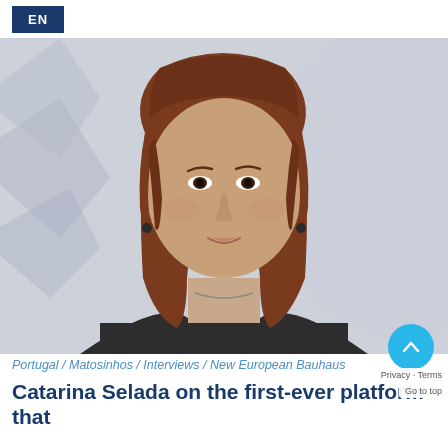EN
[Figure (photo): Portrait photo of Catarina Selada, a woman with straight reddish-brown hair, wearing a dark top, photographed against a light gray background with decorative geometric shapes.]
Portugal / Matosinhos / Interviews / New European Bauhaus
Catarina Selada on the first-ever platform that